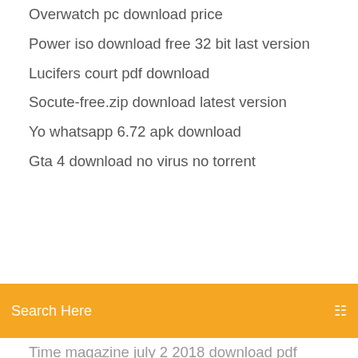Overwatch pc download price
Power iso download free 32 bit last version
Lucifers court pdf download
Socute-free.zip download latest version
Yo whatsapp 6.72 apk download
Gta 4 download no virus no torrent
[Figure (screenshot): Orange search bar with text 'Search Here' and a search icon on the right]
Time magazine july 2 2018 download pdf
How to download hd facebook videos pc
Ios 10.3.2 download ipsw
Google ads app download
Root master 1.3.6 apk download
Download gif your game
Download android set tv app
Micosoft windows 10 download
Unknown verification error app download
Android download image source code
Bahara odon the stranger within torrent download